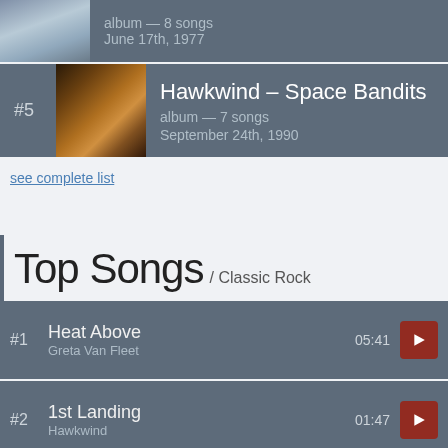album — 8 songs
June 17th, 1977
#5 Hawkwind – Space Bandits
album — 7 songs
September 24th, 1990
see complete list
Top Songs / Classic Rock
#1 Heat Above
Greta Van Fleet
05:41
#2 1st Landing
Hawkwind
01:47
#3 5.15 a.m.
Mark Knopfler
05:57
#4 A Day in the Life
05:39